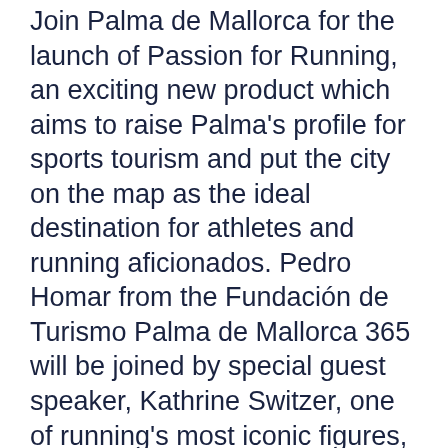Join Palma de Mallorca for the launch of Passion for Running, an exciting new product which aims to raise Palma's profile for sports tourism and put the city on the map as the ideal destination for athletes and running aficionados. Pedro Homar from the Fundación de Turismo Palma de Mallorca 365 will be joined by special guest speaker, Kathrine Switzer, one of running's most iconic figures, who challenged the all-male tradition of the Boston Marathon and became the first woman to run as a registered entry in 1967.
Limited places are available to travel and sports media, freelance journalists who specialise in travel or sport, travel a/o sports bloggers and operators that sell...